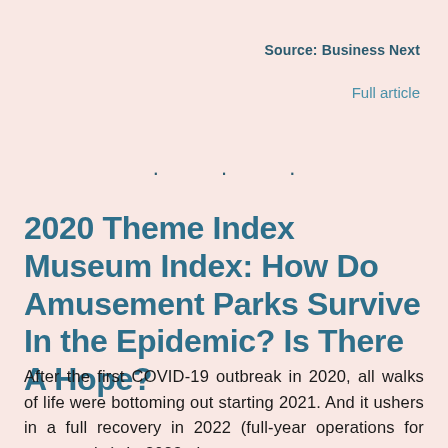Source: Business Next
Full article
. . .
2020 Theme Index Museum Index: How Do Amusement Parks Survive In the Epidemic? Is There A Hope?
After the first COVID-19 outbreak in 2020, all walks of life were bottoming out starting 2021. And it ushers in a full recovery in 2022 (full-year operations for some parks). In 2023, the